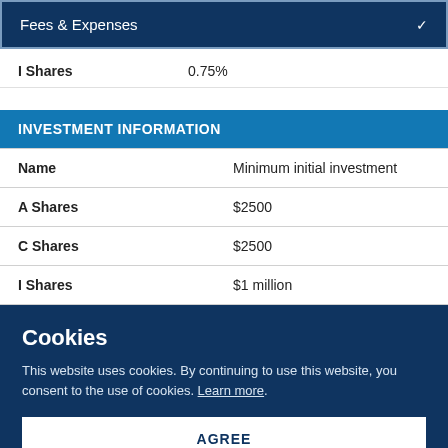Fees & Expenses
| Name |  |
| --- | --- |
| I Shares | 0.75% |
INVESTMENT INFORMATION
| Name | Minimum initial investment |
| --- | --- |
| A Shares | $2500 |
| C Shares | $2500 |
| I Shares | $1 million |
Cookies
This website uses cookies. By continuing to use this website, you consent to the use of cookies. Learn more.